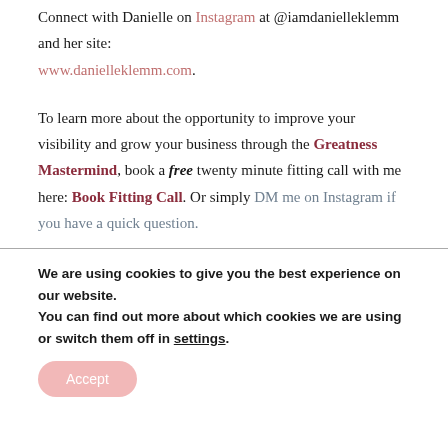Connect with Danielle on Instagram at @iamdanielleklemm and her site: www.danielleklemm.com.
To learn more about the opportunity to improve your visibility and grow your business through the Greatness Mastermind, book a free twenty minute fitting call with me here: Book Fitting Call. Or simply DM me on Instagram if you have a quick question.
We are using cookies to give you the best experience on our website.
You can find out more about which cookies we are using or switch them off in settings.
Accept